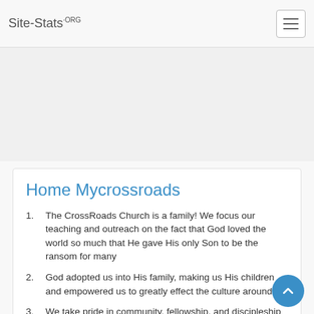Site-Stats.ORG
Home Mycrossroads
The CrossRoads Church is a family! We focus our teaching and outreach on the fact that God loved the world so much that He gave His only Son to be the ransom for many
God adopted us into His family, making us His children and empowered us to greatly effect the culture around us
We take pride in community, fellowship, and discipleship
Mycrossroads.com  DA: 20  PA: 20  MOZ Rank: 45